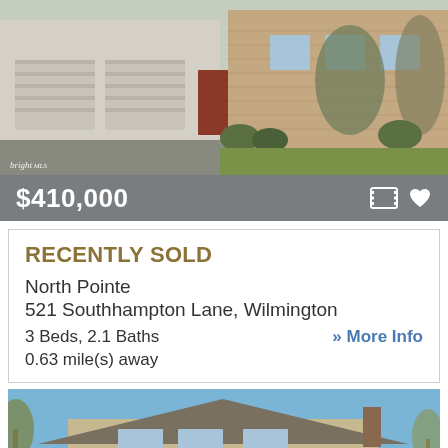[Figure (photo): Exterior photo of a townhouse/colonial home with two-car garage and landscaping, watermarked with 'bright MLS']
$410,000
RECENTLY SOLD
North Pointe
521 Southhampton Lane, Wilmington
3 Beds, 2.1 Baths
0.63 mile(s) away
>> More Info
[Figure (photo): Exterior photo of a split-level brick house with large lawn, visible moving truck with red sign in foreground]